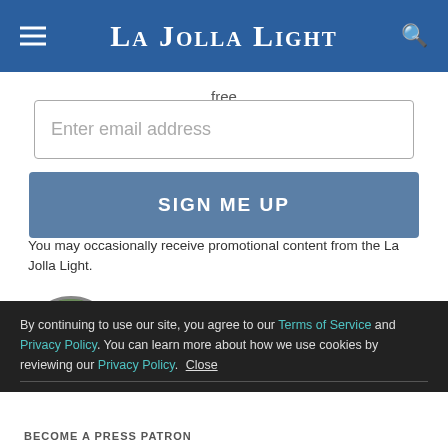La Jolla Light
free
Enter email address
SIGN ME UP
You may occasionally receive promotional content from the La Jolla Light.
[Figure (photo): Circular headshot of Corey Levitan]
Corey Levitan
By continuing to use our site, you agree to our Terms of Service and Privacy Policy. You can learn more about how we use cookies by reviewing our Privacy Policy. Close
BECOME A PRESS PATRON